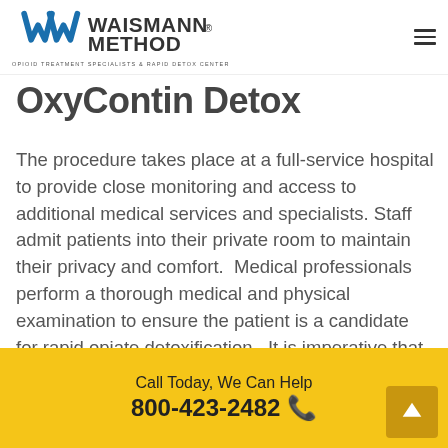WAISMANN METHOD® OPIOID TREATMENT SPECIALISTS & RAPID DETOX CENTER
OxyContin Detox
The procedure takes place at a full-service hospital to provide close monitoring and access to additional medical services and specialists. Staff admit patients into their private room to maintain their privacy and comfort. Medical professionals perform a thorough medical and physical examination to ensure the patient is a candidate for rapid opiate detoxification. It is imperative that we properly evaluate patients before the procedure as an in-patient so we can administer pre-
Call Today, We Can Help 800-423-2482